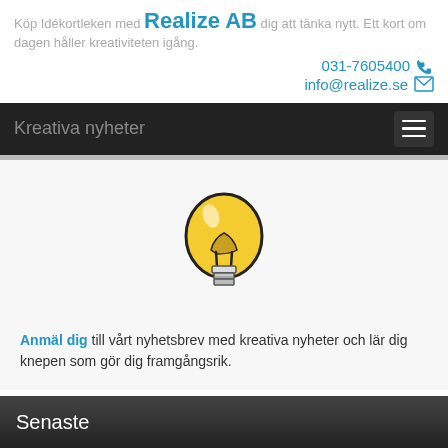Realize AB
Köp Idékortleken med Realize AB dig att tänka nytt. Ett kort om dagen håller kreativiteten igång.
031-7605400
info@realize.se
Kreativa nyheter
[Figure (illustration): Yellow light bulb icon with black outline on white/light gray background]
Anmäl dig till vårt nyhetsbrev med kreativa nyheter och lär dig knepen som gör dig framgångsrik.
Senaste